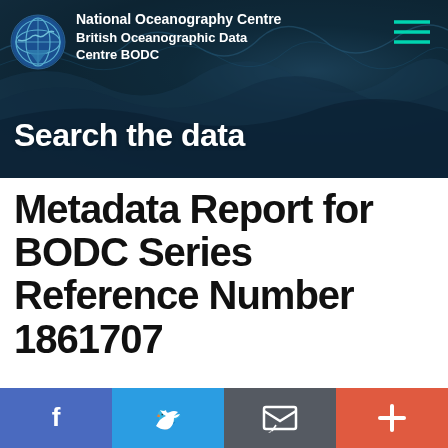[Figure (screenshot): National Oceanography Centre / British Oceanographic Data Centre BODC header banner with ocean wave background and globe logo]
National Oceanography Centre British Oceanographic Data Centre BODC
Search the data
Metadata Report for BODC Series Reference Number 1861707
[Figure (infographic): Social sharing footer bar with Facebook, Twitter, Email, and Plus buttons]